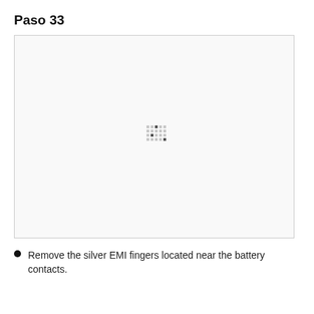Paso 33
[Figure (photo): A mostly white image with a small cluster of gray and dark pixel-like dots near the center, representing a close-up view of silver EMI fingers near battery contacts on a device.]
Remove the silver EMI fingers located near the battery contacts.